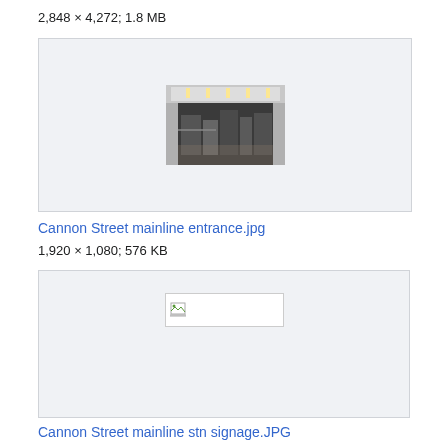2,848 × 4,272; 1.8 MB
[Figure (photo): Thumbnail of Cannon Street mainline area showing industrial/tunnel interior with lighting]
Cannon Street mainline entrance.jpg
1,920 × 1,080; 576 KB
[Figure (photo): Broken image placeholder for Cannon Street mainline stn signage.JPG]
Cannon Street mainline stn signage.JPG